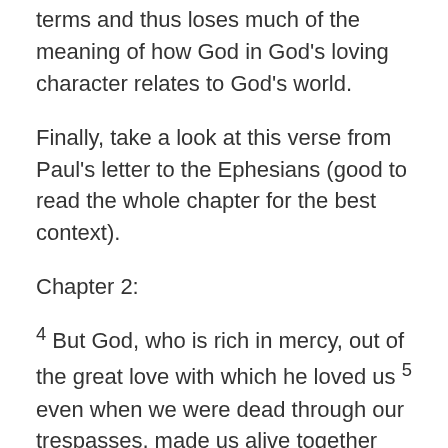terms and thus loses much of the meaning of how God in God's loving character relates to God's world.
Finally, take a look at this verse from Paul's letter to the Ephesians (good to read the whole chapter for the best context).
Chapter 2:
4 But God, who is rich in mercy, out of the great love with which he loved us 5 even when we were dead through our trespasses, made us alive together with Christ —by grace you have been saved— 6 and raised us up with him and seated us with him in the heavenly places in Christ Jesus, 7 so that in the ages to come he might show the immeasurable riches of his grace in kindness toward us in Christ Jesus. 8 For by grace you have been saved through